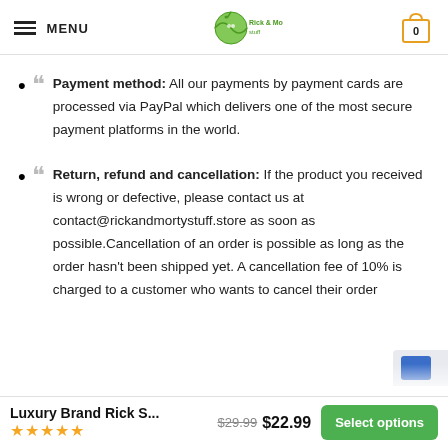MENU | Rick and Morty Stuff logo | Cart 0
Payment method: All our payments by payment cards are processed via PayPal which delivers one of the most secure payment platforms in the world.
Return, refund and cancellation: If the product you received is wrong or defective, please contact us at contact@rickandmortystuff.store as soon as possible.Cancellation of an order is possible as long as the order hasn't been shipped yet. A cancellation fee of 10% is charged to a customer who wants to cancel their order
Luxury Brand Rick S... $29.99 $22.99 ★★★★★ Select options